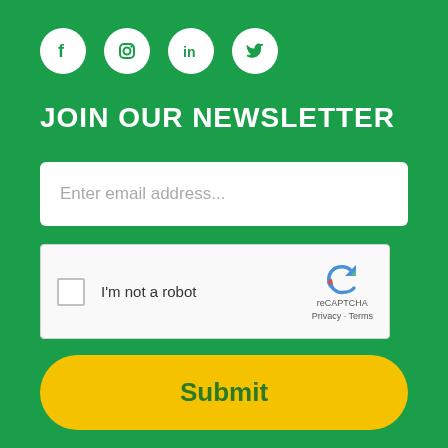[Figure (illustration): Four social media icons in white circles: Facebook, Instagram, LinkedIn, Twitter on green background]
JOIN OUR NEWSLETTER
Enter email address...
[Figure (other): reCAPTCHA widget with checkbox labeled I'm not a robot, reCAPTCHA logo, Privacy and Terms links]
Submit